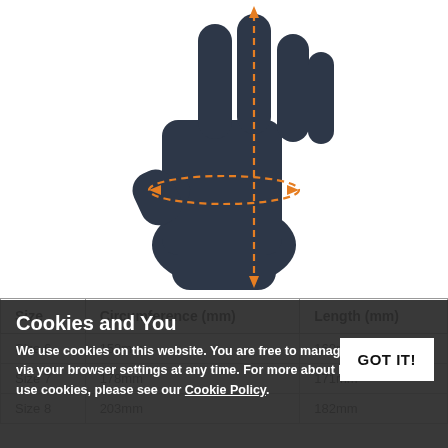[Figure (illustration): Dark navy/charcoal hand silhouette with orange dashed measurement lines: a vertical dashed line from fingertip to wrist with up/down arrows indicating length, and a horizontal dashed oval/circle around the palm indicating circumference, with orange arrows at each end.]
| Size | Circumference (mm) | Length (mm) |
| --- | --- | --- |
| Size 6 | 152mm | 160mm |
| Size 7 | 178mm | 171mm |
| Size 8 | 203mm | 182mm |
Cookies and You
We use cookies on this website. You are free to manage these via your browser settings at any time. For more about how we use cookies, please see our Cookie Policy.